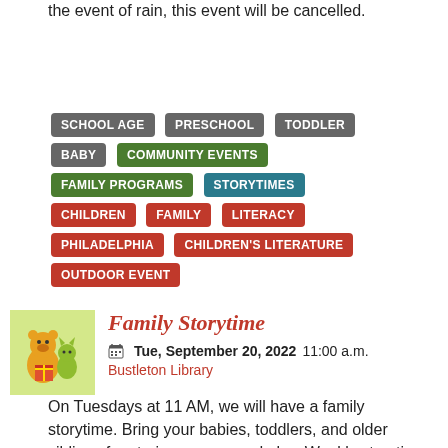the event of rain, this event will be cancelled.
SCHOOL AGE
PRESCHOOL
TODDLER
BABY
COMMUNITY EVENTS
FAMILY PROGRAMS
STORYTIMES
CHILDREN
FAMILY
LITERACY
PHILADELPHIA
CHILDREN'S LITERATURE
OUTDOOR EVENT
Family Storytime
Tue, September 20, 2022 11:00 a.m.
Bustleton Library
On Tuesdays at 11 AM, we will have a family storytime. Bring your babies, toddlers, and older siblings for stories, songs, and play. Weekly storytimes will